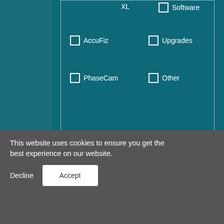[Figure (screenshot): Web form with teal/dark teal background showing checkboxes for XL, AccuFiz, PhaseCam (left column) and Software, Upgrades, Other (right column) inside a bordered box]
How did you hear about us?
Please select an option
Comment
This website uses cookies to ensure you get the best experience on our website.
Decline
Accept